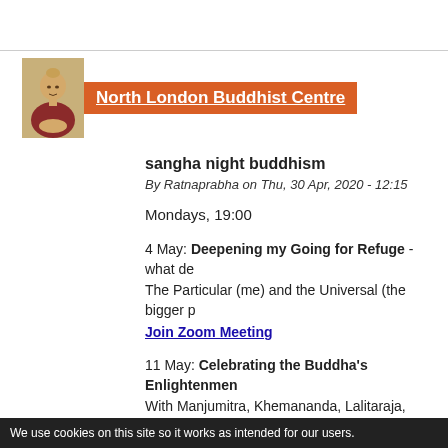North London Buddhist Centre
sangha night buddhism
By Ratnaprabha on Thu, 30 Apr, 2020 - 12:15
Mondays, 19:00
4 May: Deepening my Going for Refuge - what de... The Particular (me) and the Universal (the bigger p...
Join Zoom Meeting
11 May: Celebrating the Buddha's Enlightenmen... With Manjumitra, Khemananda, Lalitaraja, Santva a... 'Reflections on the Buddha's Enlightenment', and ri...
Join Zoom Meeting
All welcome, intended for those with a genuine inte...
We use cookies on this site so it works as intended for our users.